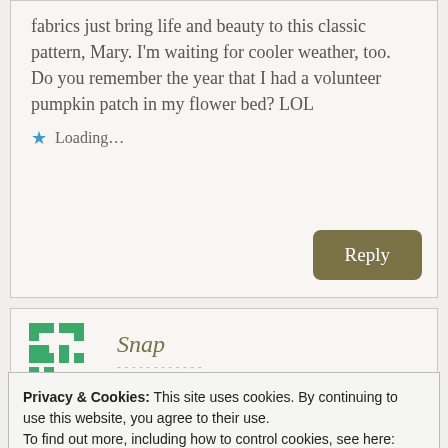fabrics just bring life and beauty to this classic pattern, Mary. I'm waiting for cooler weather, too. Do you remember the year that I had a volunteer pumpkin patch in my flower bed? LOL
Loading...
Reply
Snap
Privacy & Cookies: This site uses cookies. By continuing to use this website, you agree to their use.
To find out more, including how to control cookies, see here:
Cookie Policy
Close and accept